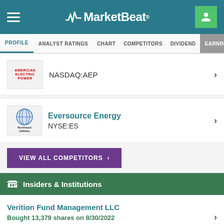MarketBeat
PROFILE  ANALYST RATINGS  CHART  COMPETITORS  DIVIDEND  EARNINGS
NASDAQ:AEP
Eversource Energy
NYSE:ES
VIEW ALL COMPETITORS >
Insiders & Institutions
Verition Fund Management LLC
Bought 13,379 shares on 8/30/2022
Ownership: 0.004%